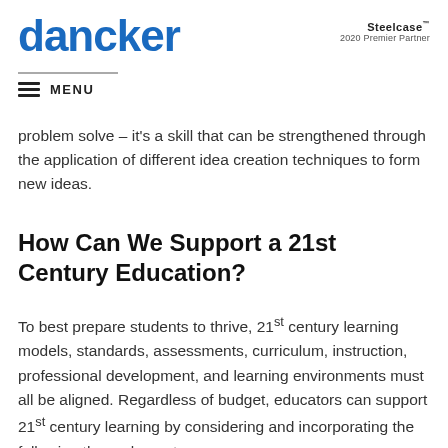[Figure (logo): dancker logo in blue bold text]
[Figure (logo): Steelcase 2020 Premier Partner badge]
MENU
problem solve – it's a skill that can be strengthened through the application of different idea creation techniques to form new ideas.
How Can We Support a 21st Century Education?
To best prepare students to thrive, 21st century learning models, standards, assessments, curriculum, instruction, professional development, and learning environments must all be aligned. Regardless of budget, educators can support 21st century learning by considering and incorporating the following three elements: